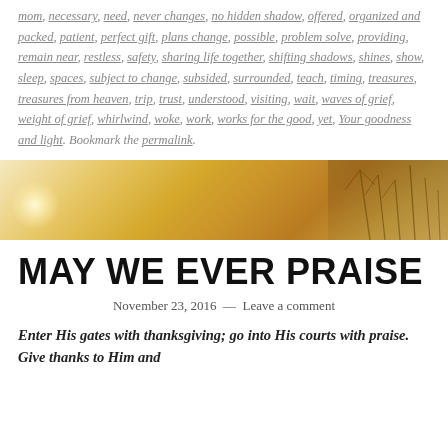mom, necessary, need, never changes, no hidden shadow, offered, organized and packed, patient, perfect gift, plans change, possible, problem solve, providing, remain near, restless, safety, sharing life together, shifting shadows, shines, show, sleep, spaces, subject to change, subsided, surrounded, teach, timing, treasures, treasures from heaven, trip, trust, understood, visiting, wait, waves of grief, weight of grief, whirlwind, woke, work, works for the good, yet, Your goodness and light. Bookmark the permalink.
[Figure (photo): Golden/warm bokeh banner image with soft light glow on left and dark plant silhouettes on right]
MAY WE EVER PRAISE
November 23, 2016 — Leave a comment
Enter His gates with thanksgiving; go into His courts with praise. Give thanks to Him and...